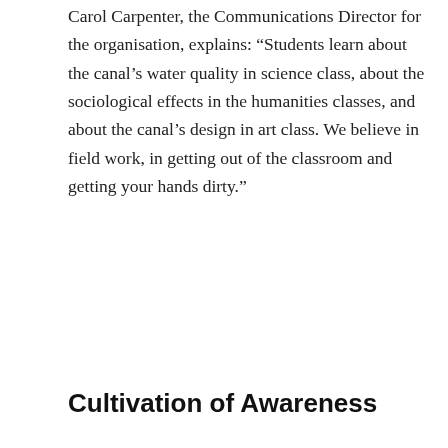Carol Carpenter, the Communications Director for the organisation, explains: “Students learn about the canal’s water quality in science class, about the sociological effects in the humanities classes, and about the canal’s design in art class. We believe in field work, in getting out of the classroom and getting your hands dirty.”
Cultivation of Awareness
According to Louv, natural environments promote “involuntary attention” or
[Figure (other): Wayfair advertisement banner: Top Appliances Low Prices, with appliance image, Save on best selling brands that live up to the hype, Shop now button]